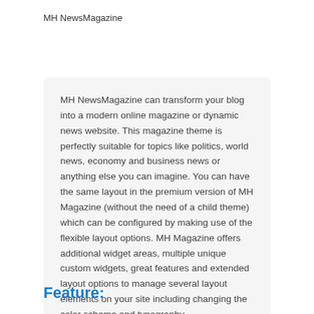MH NewsMagazine
MH NewsMagazine can transform your blog into a modern online magazine or dynamic news website. This magazine theme is perfectly suitable for topics like politics, world news, economy and business news or anything else you can imagine. You can have the same layout in the premium version of MH Magazine (without the need of a child theme) which can be configured by making use of the flexible layout options. MH Magazine offers additional widget areas, multiple unique custom widgets, great features and extended layout options to manage several layout elements on your site including changing the color scheme and typography.
Feature: